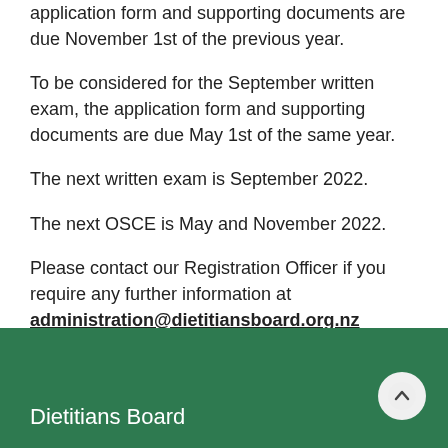application form and supporting documents are due November 1st of the previous year.
To be considered for the September written exam, the application form and supporting documents are due May 1st of the same year.
The next written exam is September 2022.
The next OSCE is May and November 2022.
Please contact our Registration Officer if you require any further information at administration@dietitiansboard.org.nz
Dietitians Board